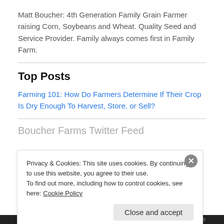Matt Boucher: 4th Generation Family Grain Farmer raising Corn, Soybeans and Wheat. Quality Seed and Service Provider. Family always comes first in Family Farm.
Top Posts
Farming 101: How Do Farmers Determine If Their Crop Is Dry Enough To Harvest, Store, or Sell?
Boucher Farms Twitter Feed
Privacy & Cookies: This site uses cookies. By continuing to use this website, you agree to their use.
To find out more, including how to control cookies, see here: Cookie Policy
Close and accept